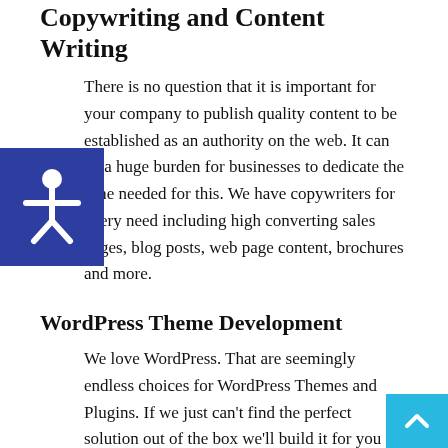Copywriting and Content Writing
There is no question that it is important for your company to publish quality content to be established as an authority on the web. It can be a huge burden for businesses to dedicate the time needed for this. We have copywriters for every need including high converting sales pages, blog posts, web page content, brochures and more.
WordPress Theme Development
We love WordPress. That are seemingly endless choices for WordPress Themes and Plugins. If we just can't find the perfect solution out of the box we'll build it for you from scratch.
Photography
We have product photography services available in-house as well as on-site photography options, hotel and...